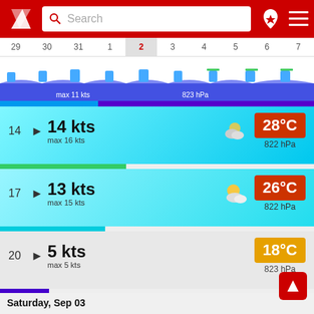[Figure (screenshot): Red app header with logo, search bar, location pin icon, and hamburger menu]
[Figure (infographic): Calendar date strip showing days 29, 30, 31, 1, 2 (selected/highlighted), 3, 4, 5, 6, 7 with weather chart icons below]
max 11 kts
823 hPa
14  14 kts  max 16 kts  28°C  822 hPa
17  13 kts  max 15 kts  26°C  822 hPa
20  5 kts  max 5 kts  18°C  823 hPa
23  5 kts  max 5 kts  17°C  823 hPa
Saturday, Sep 03